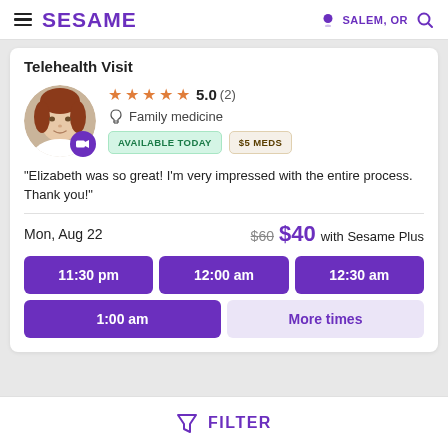SESAME — SALEM, OR
Telehealth Visit
[Figure (photo): Doctor profile photo of a woman with red/brown hair wearing a white coat, with a purple video camera badge overlay]
★★★★★ 5.0 (2) — Family medicine — AVAILABLE TODAY — $5 MEDS
"Elizabeth was so great! I'm very impressed with the entire process. Thank you!"
Mon, Aug 22 — $60 $40 with Sesame Plus
11:30 pm | 12:00 am | 12:30 am | 1:00 am | More times
FILTER